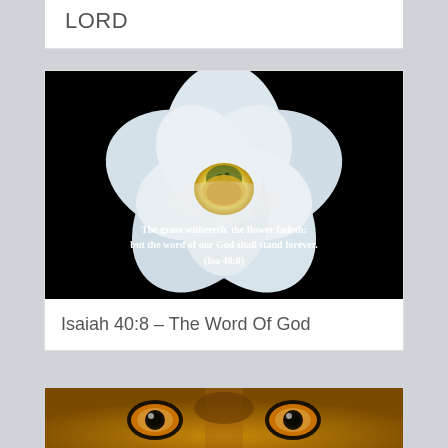LORD
[Figure (photo): White flower (magnolia/lotus) on black background with overlaid Bible verse text: 'The grass withereth, the flower fadeth: but the word of our God shall stand forever. (Isa 40:8)']
Isaiah 40:8 – The Word Of God
[Figure (photo): Close-up of a lion's eyes and forehead, golden-amber eyes looking forward]